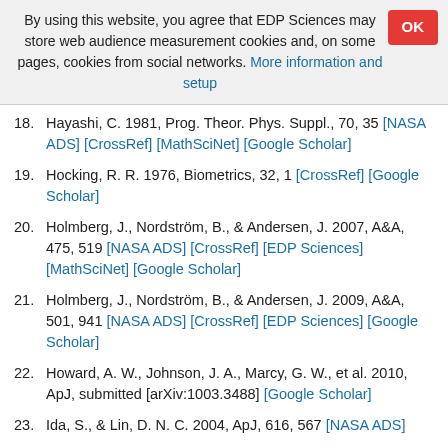By using this website, you agree that EDP Sciences may store web audience measurement cookies and, on some pages, cookies from social networks. More information and setup
18. Hayashi, C. 1981, Prog. Theor. Phys. Suppl., 70, 35 [NASA ADS] [CrossRef] [MathSciNet] [Google Scholar]
19. Hocking, R. R. 1976, Biometrics, 32, 1 [CrossRef] [Google Scholar]
20. Holmberg, J., Nordström, B., & Andersen, J. 2007, A&A, 475, 519 [NASA ADS] [CrossRef] [EDP Sciences] [MathSciNet] [Google Scholar]
21. Holmberg, J., Nordström, B., & Andersen, J. 2009, A&A, 501, 941 [NASA ADS] [CrossRef] [EDP Sciences] [Google Scholar]
22. Howard, A. W., Johnson, J. A., Marcy, G. W., et al. 2010, ApJ, submitted [arXiv:1003.3488] [Google Scholar]
23. Ida, S., & Lin, D. N. C. 2004, ApJ, 616, 567 [NASA ADS]